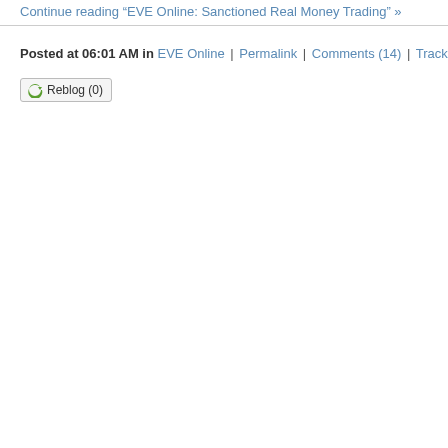Continue reading "EVE Online: Sanctioned Real Money Trading" »
Posted at 06:01 AM in EVE Online | Permalink | Comments (14) | TrackBack
Reblog (0)